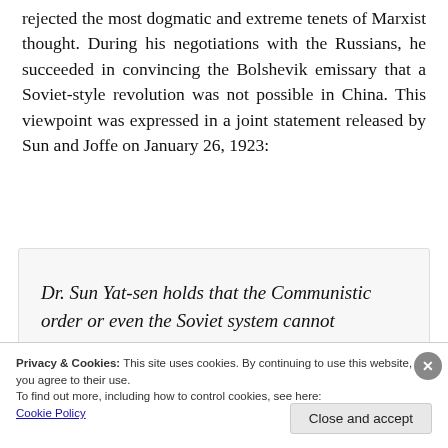rejected the most dogmatic and extreme tenets of Marxist thought. During his negotiations with the Russians, he succeeded in convincing the Bolshevik emissary that a Soviet-style revolution was not possible in China. This viewpoint was expressed in a joint statement released by Sun and Joffe on January 26, 1923:
Dr. Sun Yat-sen holds that the Communistic order or even the Soviet system cannot
Privacy & Cookies: This site uses cookies. By continuing to use this website, you agree to their use. To find out more, including how to control cookies, see here: Cookie Policy
Close and accept